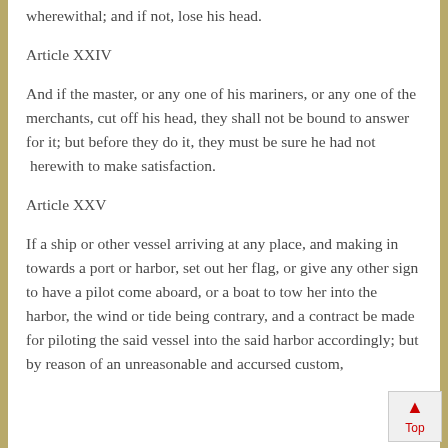wherewithal; and if not, lose his head.
Article XXIV
And if the master, or any one of his mariners, or any one of the merchants, cut off his head, they shall not be bound to answer for it; but before they do it, they must be sure he had not  herewith to make satisfaction.
Article XXV
If a ship or other vessel arriving at any place, and making in towards a port or harbor, set out her flag, or give any other sign to have a pilot come aboard, or a boat to tow her into the harbor, the wind or tide being contrary, and a contract be made for piloting the said vessel into the said harbor accordingly; but by reason of an unreasonable and accursed custom,